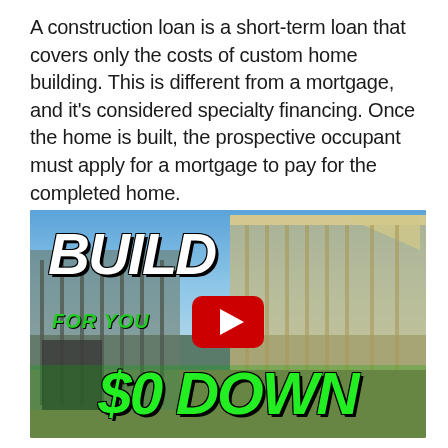A construction loan is a short-term loan that covers only the costs of custom home building. This is different from a mortgage, and it's considered specialty financing. Once the home is built, the prospective occupant must apply for a mortgage to pay for the completed home.
[Figure (other): YouTube video thumbnail showing a house under construction with text 'BUILD FOR $0 DOWN' and a YouTube play button in the center]